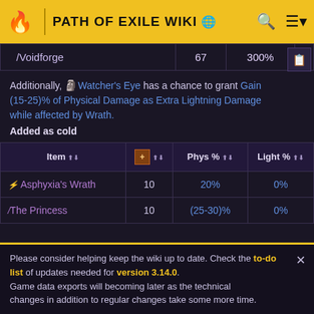PATH OF EXILE WIKI
|  |  | 300% |
| --- | --- | --- |
| /Voidforge | 67 | 300% |
Additionally, Watcher's Eye has a chance to grant Gain (15-25)% of Physical Damage as Extra Lightning Damage while affected by Wrath.
Added as cold
| Item | + | Phys % | Light % |
| --- | --- | --- | --- |
| Asphyxia's Wrath | 10 | 20% | 0% |
| The Princess | 10 | (25-30)% | 0% |
Please consider helping keep the wiki up to date. Check the to-do list of updates needed for version 3.14.0. Game data exports will becoming later as the technical changes in addition to regular changes take some more time.